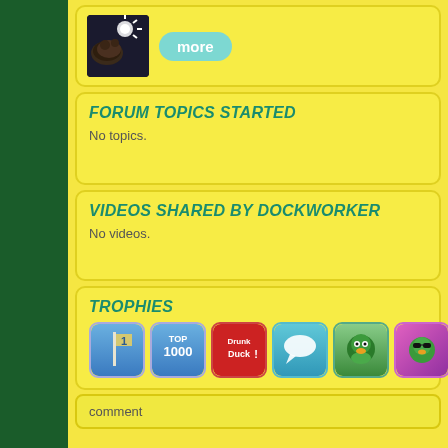[Figure (photo): Thumbnail image (dark, space/cow with light) with a 'more' button beside it]
FORUM TOPICS STARTED
No topics.
VIDEOS SHARED BY DOCKWORKER
No videos.
TROPHIES
[Figure (illustration): Row of trophy badge icons: blue #1 flag, TOP 1000, Drunk Duck, speech bubble, green duck, green duck with sunglasses, partial circle icon]
comment